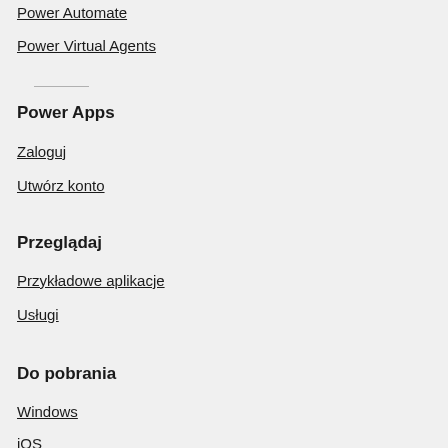Power Automate
Power Virtual Agents
Power Apps
Zaloguj
Utwórz konto
Przeglądaj
Przykładowe aplikacje
Usługi
Do pobrania
Windows
iOS